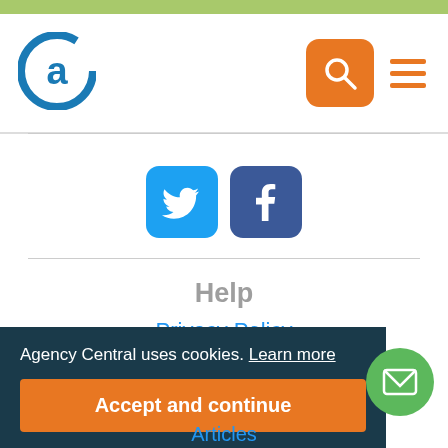[Figure (logo): Agency Central logo - circular design with letter a]
[Figure (illustration): Orange search button and hamburger menu icon in header]
[Figure (illustration): Twitter and Facebook social media icon buttons]
Help
Privacy Policy
Cookie Policy
About Agency Central
Agency Central uses cookies. Learn more
Accept and continue
Articles